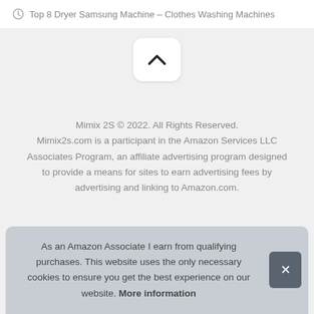Top 8 Dryer Samsung Machine – Clothes Washing Machines
[Figure (other): Scroll-to-top button with upward chevron arrow on white rounded square background]
Mimix 2S © 2022. All Rights Reserved. Mimix2s.com is a participant in the Amazon Services LLC Associates Program, an affiliate advertising program designed to provide a means for sites to earn advertising fees by advertising and linking to Amazon.com.
As an Amazon Associate I earn from qualifying purchases. This website uses the only necessary cookies to ensure you get the best experience on our website. More information